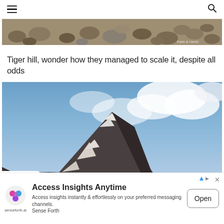Navigation header with hamburger menu and search icon
[Figure (photo): Partial view of rocky mountain terrain with stones and pebbles, watermark 'Kash & Harsh' visible at bottom right]
Tiger hill, wonder how they managed to scale it, despite all odds
[Figure (photo): Dramatic mountain peak (Tiger Hill) with snow patches, dark rocky face against a blue sky with clouds]
Access Insights Anytime
Access insights instantly & effortlessly on your preferred messaging channels.
Sense Forth